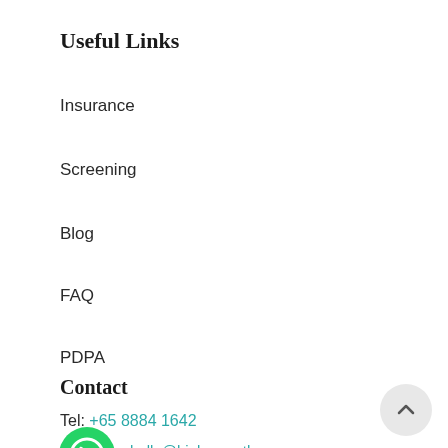Useful Links
Insurance
Screening
Blog
FAQ
PDPA
Contact
Tel: +65 8884 1642
hello@hipkneeortho.com.sg